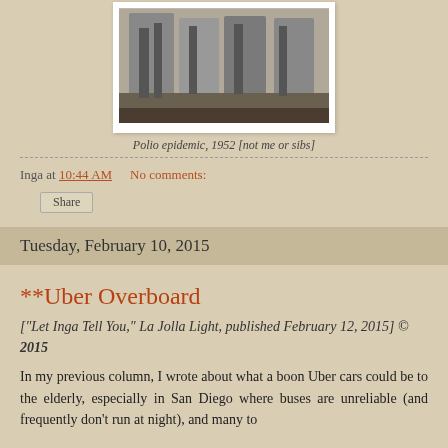[Figure (photo): Black and white historical photo of children with polio, standing at a porch or building entrance, circa 1952.]
Polio epidemic, 1952 [not me or sibs]
Inga at 10:44 AM    No comments:
Share
Tuesday, February 10, 2015
**Uber Overboard
["Let Inga Tell You," La Jolla Light, published February 12, 2015] © 2015
In my previous column, I wrote about what a boon Uber cars could be to the elderly, especially in San Diego where buses are unreliable (and frequently don't run at night), and many taxi